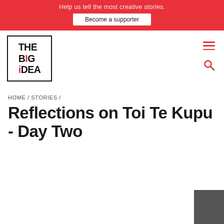Help us tell the most creative stories. Become a supporter
[Figure (logo): THE BIG IDEA logo in a black bordered box with red dot on i]
HOME / STORIES /
Reflections on Toi Te Kupu - Day Two